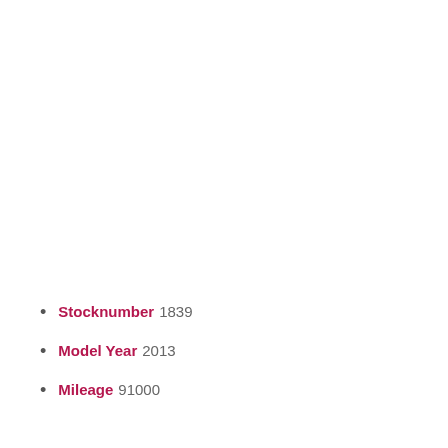Stocknumber 1839
Model Year 2013
Mileage 91000